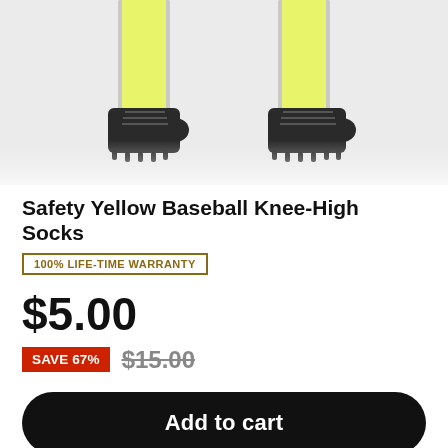[Figure (photo): Product photo showing legs wearing safety yellow knee-high baseball socks with black cleats, on a light gray background]
Safety Yellow Baseball Knee-High Socks
100% LIFE-TIME WARRANTY
$5.00
SAVE 67%  $15.00
Add to cart